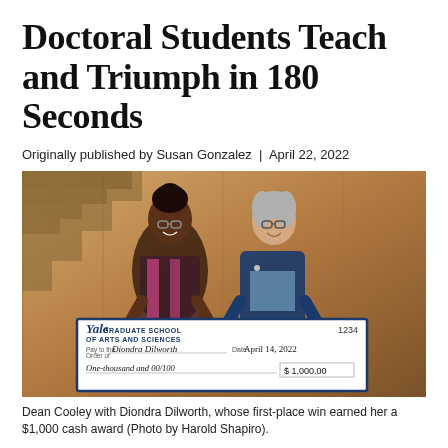Doctoral Students Teach and Triumph in 180 Seconds
Originally published by Susan Gonzalez  |  April 22, 2022
[Figure (photo): Two women standing together holding a large ceremonial check from Yale Graduate School of Arts and Sciences. The check is made out to Diondra Dilworth, dated April 14, 2022, for $1,000.00 (One-thousand and 00/100), check number 1234. Background shows wood-paneled walls and a staircase.]
Dean Cooley with Diondra Dilworth, whose first-place win earned her a $1,000 cash award (Photo by Harold Shapiro).